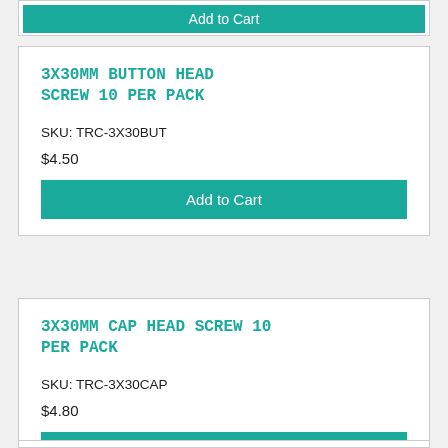Add to Cart (partial, top card cut off)
3X30MM BUTTON HEAD SCREW 10 PER PACK
SKU: TRC-3X30BUT
$4.50
Add to Cart
3X30MM CAP HEAD SCREW 10 PER PACK
SKU: TRC-3X30CAP
$4.80
Add to Cart